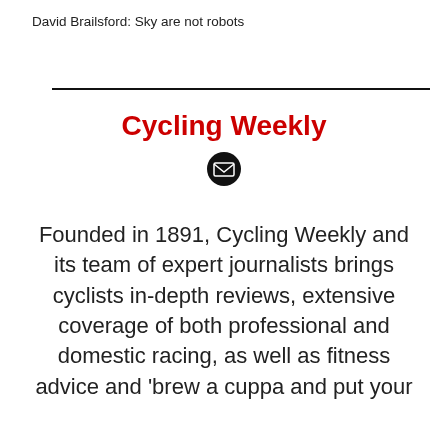David Brailsford: Sky are not robots
Cycling Weekly
Founded in 1891, Cycling Weekly and its team of expert journalists brings cyclists in-depth reviews, extensive coverage of both professional and domestic racing, as well as fitness advice and 'brew a cuppa and put your